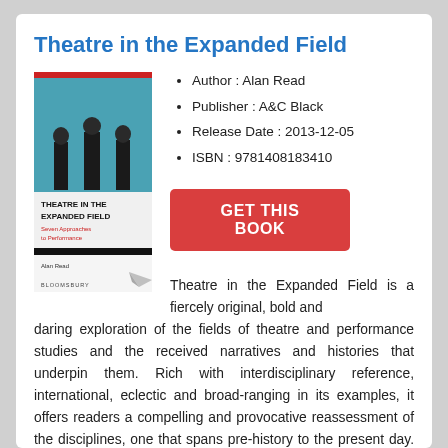Theatre in the Expanded Field
[Figure (illustration): Book cover of 'Theatre in the Expanded Field' by Alan Read, published by Bloomsbury. Shows three figures on a stage with blue background, with the title and subtitle 'Seven Approaches to Performance' visible.]
Author : Alan Read
Publisher : A&C Black
Release Date : 2013-12-05
ISBN : 9781408183410
GET THIS BOOK
Theatre in the Expanded Field is a fiercely original, bold and daring exploration of the fields of theatre and performance studies and the received narratives and histories that underpin them. Rich with interdisciplinary reference, international, eclectic and broad-ranging in its examples, it offers readers a compelling and provocative reassessment of the disciplines, one that spans pre-history to the present day. Sixty years ago, in 1962, Richard Southern wrote a remarkable book called The